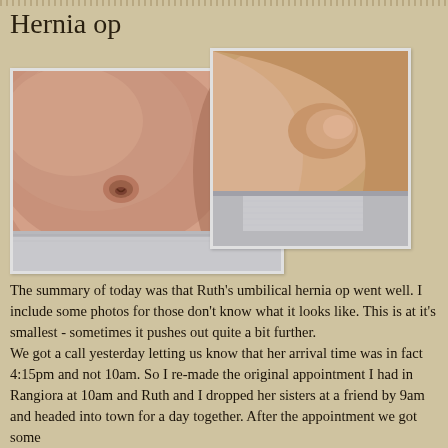Hernia op
[Figure (photo): Two medical photos showing an umbilical hernia: left photo shows a child's belly with the hernia bump at the navel, right photo shows a side profile view of the hernia protrusion with clothing/bandage visible]
The summary of today was that Ruth's umbilical hernia op went well. I include some photos for those don't know what it looks like. This is at it's smallest - sometimes it pushes out quite a bit further.
We got a call yesterday letting us know that her arrival time was in fact 4:15pm and not 10am. So I re-made the original appointment I had in Rangiora at 10am and Ruth and I dropped her sisters at a friend by 9am and headed into town for a day together. After the appointment we got some